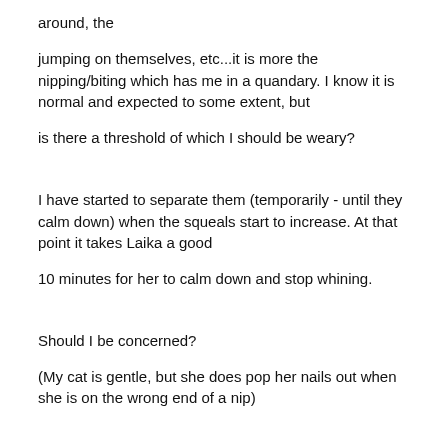around, the
jumping on themselves, etc...it is more the nipping/biting which has me in a quandary. I know it is normal and expected to some extent, but
is there a threshold of which I should be weary?
I have started to separate them (temporarily - until they calm down) when the squeals start to increase. At that point it takes Laika a good
10 minutes for her to calm down and stop whining.
Should I be concerned?
(My cat is gentle, but she does pop her nails out when she is on the wrong end of a nip)
Also, does anyone think that in the next bit I can introduce her to the other